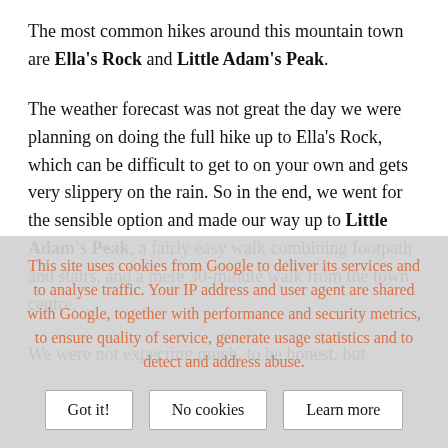The most common hikes around this mountain town are Ella's Rock and Little Adam's Peak.
The weather forecast was not great the day we were planning on doing the full hike up to Ella's Rock, which can be difficult to get to on your own and gets very slippery on the rain. So in the end, we went for the sensible option and made our way up to Little Adam's Peak, a fairly easy walk combining footpath and stairs, and a mere 30-minute walk from the town centre.
We were not expecting much, to be honest, but
This site uses cookies from Google to deliver its services and to analyse traffic. Your IP address and user agent are shared with Google, together with performance and security metrics, to ensure quality of service, generate usage statistics and to detect and address abuse.